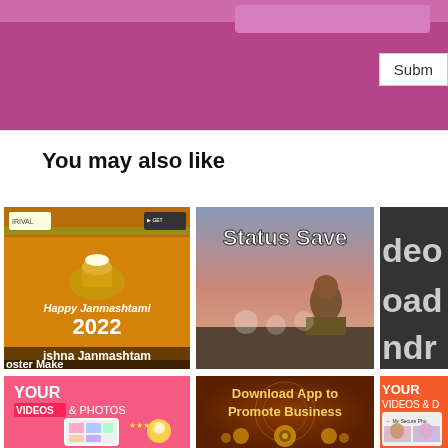Subm
You may also like
[Figure (screenshot): Krishna Janmashtami Poster Maker app screenshot with orange/golden background showing 'Happy Janmashtami 2022' text and decorative elements, with text 'krishna Janmashtami Poster Make' at bottom]
[Figure (screenshot): Status Saver app screenshot showing a person sitting on a wall at sunset, with 'Status Save' text at top]
[Figure (screenshot): Partially visible screenshot with text 'deo', 'oad', 'ndr' on dark background]
[Figure (screenshot): App screenshot on pink background showing 'YOUR VIDEOS & PHOTOS' text with phone mockup showing a Locker app interface]
[Figure (screenshot): App screenshot with brown/golden background showing 'Download App to Promote Business' text with decorative golden elements]
[Figure (screenshot): Partially visible app screenshot on orange background showing 'YOUR VIDEOS & D' text and phone mockup with 'My Secure Pho' label and person photos]